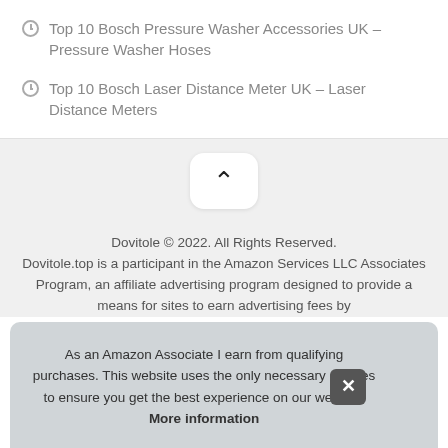Top 10 Bosch Pressure Washer Accessories UK – Pressure Washer Hoses
Top 10 Bosch Laser Distance Meter UK – Laser Distance Meters
[Figure (other): Scroll-to-top button with upward chevron icon on light grey background]
Dovitole © 2022. All Rights Reserved.
Dovitole.top is a participant in the Amazon Services LLC Associates Program, an affiliate advertising program designed to provide a means for sites to earn advertising fees by
As an Amazon Associate I earn from qualifying purchases. This website uses the only necessary cookies to ensure you get the best experience on our website. More information